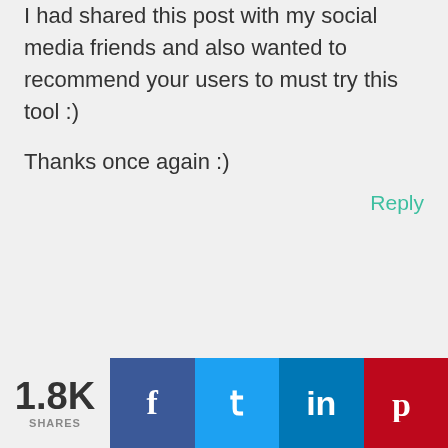I had shared this post with my social media friends and also wanted to recommend your users to must try this tool :)
Thanks once again :)
Reply
1.8K SHARES | Facebook | Twitter | LinkedIn | Pinterest